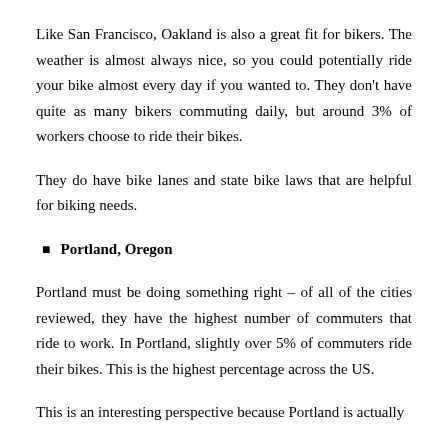Like San Francisco, Oakland is also a great fit for bikers. The weather is almost always nice, so you could potentially ride your bike almost every day if you wanted to. They don't have quite as many bikers commuting daily, but around 3% of workers choose to ride their bikes.
They do have bike lanes and state bike laws that are helpful for biking needs.
Portland, Oregon
Portland must be doing something right – of all of the cities reviewed, they have the highest number of commuters that ride to work. In Portland, slightly over 5% of commuters ride their bikes. This is the highest percentage across the US.
This is an interesting perspective because Portland is actually